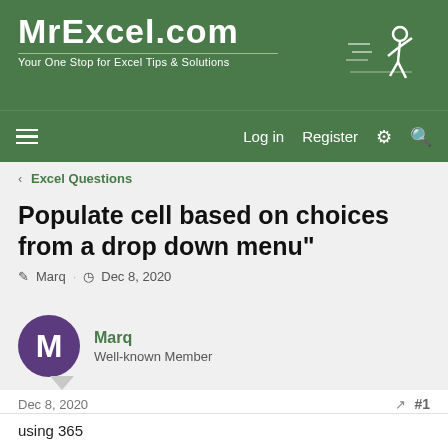MrExcel.com — Your One Stop for Excel Tips & Solutions
Log in  Register
Excel Questions
Populate cell based on choices from a drop down menu"
Marq · Dec 8, 2020
Marq
Well-known Member
Dec 8, 2020
#1
using 365

I have a drop down menu in cell B6. I want to populate cell E29 with an X based on a choice I make in B6 drop down.